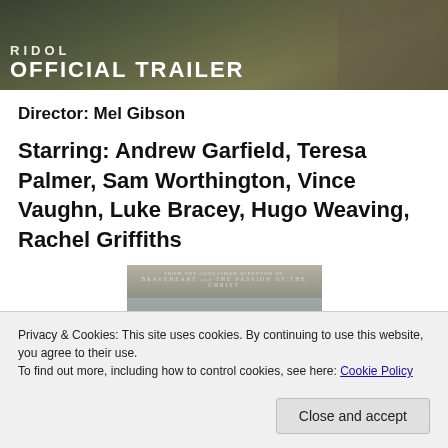[Figure (screenshot): Top banner image showing a war/military scene with text 'RIDOL' and 'OFFICIAL TRAILER' overlaid in white bold text on a dark green/military background.]
Director: Mel Gibson
Starring: Andrew Garfield, Teresa Palmer, Sam Worthington, Vince Vaughn, Luke Bracey, Hugo Weaving, Rachel Griffiths
[Figure (photo): Movie poster image showing soldiers in helmets bowed together, with text 'FROM THE ACCLAIMED DIRECTOR OF BRAVEHEART and THE PASSION OF THE CHRIST' at top.]
Privacy & Cookies: This site uses cookies. By continuing to use this website, you agree to their use.
To find out more, including how to control cookies, see here: Cookie Policy
Close and accept